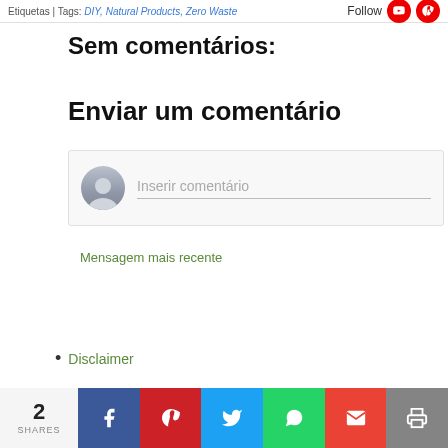Etiquetas | Tags: DIY, Natural Products, Zero Waste
Follow
Sem comentários:
Enviar um comentário
[Figure (other): Comment input box with avatar placeholder and text 'Inserir comentário']
Mensagem mais recente
Disclaimer
2 SHARES | Facebook | Pinterest | Twitter | WhatsApp | Gmail | Print